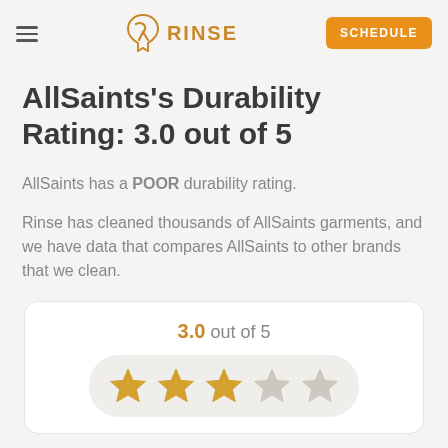RINSE | SCHEDULE
AllSaints’s Durability Rating: 3.0 out of 5
AllSaints has a POOR durability rating.
Rinse has cleaned thousands of AllSaints garments, and we have data that compares AllSaints to other brands that we clean.
[Figure (infographic): Rating card showing 3.0 out of 5 with 3 filled gold stars and 2 empty grey stars on a light background pill shape.]